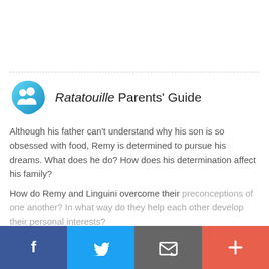[Figure (logo): Blue teardrop/blob shaped icon with two white silhouette figures (people) inside]
Ratatouille Parents' Guide
Although his father can't understand why his son is so obsessed with food, Remy is determined to pursue his dreams. What does he do? How does his determination affect his family?
How do Remy and Linguini overcome their preconceptions of one another? In what way do they help each other develop their personal interests?
[Figure (infographic): Bottom navigation bar with four buttons: Facebook (blue), Twitter (light blue), Email/envelope (grey), and More/plus (red-orange)]